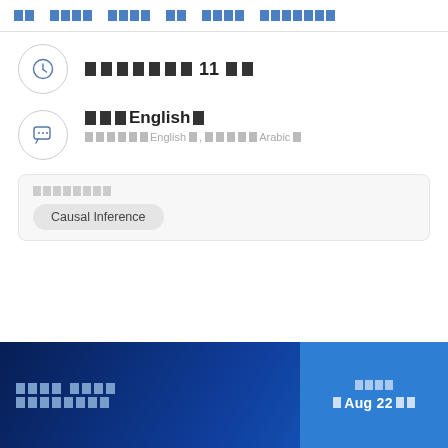□□ □□□□ □□□□ □□ □□□□ □□□□□□□
□□□□□□□11 □□
□□□English□
□□□□□□English□, □□□□□Arabic□
□□□□□□□□
Causal Inference
□□□□ □□□□ □□□□□□□□
□□□□
□ Aug 22 □□